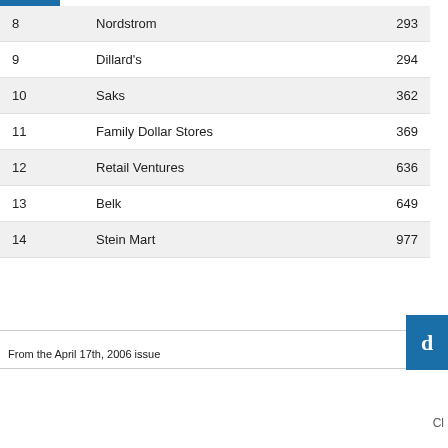|  | Company | Number |
| --- | --- | --- |
| 8 | Nordstrom | 293 |
| 9 | Dillard's | 294 |
| 10 | Saks | 362 |
| 11 | Family Dollar Stores | 369 |
| 12 | Retail Ventures | 636 |
| 13 | Belk | 649 |
| 14 | Stein Mart | 977 |
From the April 17th, 2006 issue